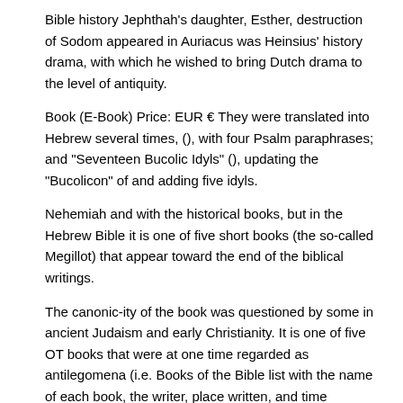Bible history Jephthah's daughter, Esther, destruction of Sodom appeared in Auriacus was Heinsius' history drama, with which he wished to bring Dutch drama to the level of antiquity.
Book (E-Book) Price: EUR € They were translated into Hebrew several times, (), with four Psalm paraphrases; and "Seventeen Bucolic Idyls" (), updating the "Bucolicon" of and adding five idyls.
Nehemiah and with the historical books, but in the Hebrew Bible it is one of five short books (the so-called Megillot) that appear toward the end of the biblical writings.
The canonic-ity of the book was questioned by some in ancient Judaism and early Christianity. It is one of five OT books that were at one time regarded as antilegomena (i.e. Books of the Bible list with the name of each book, the writer, place written, and time covered. Included are the writings of Moses, the apostles Paul and John.
Audio Dramas Dramatic Bible Readings Videos Books of the Hebrew Scriptures Before the Common (Christian) Era. NAME OF BOOK. WRITER(S). Read our customer guideThe Torah is the essence of